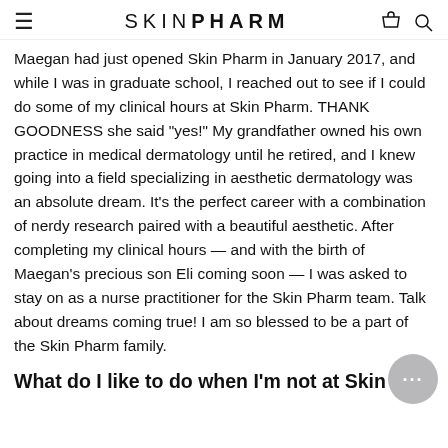SKIN PHARM
Maegan had just opened Skin Pharm in January 2017, and while I was in graduate school, I reached out to see if I could do some of my clinical hours at Skin Pharm. THANK GOODNESS she said "yes!" My grandfather owned his own practice in medical dermatology until he retired, and I knew going into a field specializing in aesthetic dermatology was an absolute dream. It's the perfect career with a combination of nerdy research paired with a beautiful aesthetic. After completing my clinical hours — and with the birth of Maegan's precious son Eli coming soon — I was asked to stay on as a nurse practitioner for the Skin Pharm team. Talk about dreams coming true! I am so blessed to be a part of the Skin Pharm family.
What do I like to do when I'm not at Skin